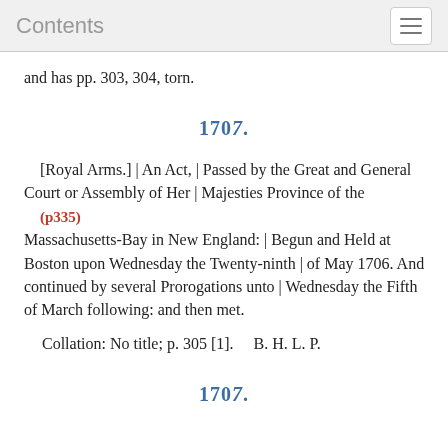Contents
and has pp. 303, 304, torn.
1707.
[Royal Arms.] | An Act, | Passed by the Great and General Court or Assembly of Her | Majesties Province of the (p335) Massachusetts-Bay in New England: | Begun and Held at Boston upon Wednesday the Twenty-ninth | of May 1706. And continued by several Prorogations unto | Wednesday the Fifth of March following: and then met.
Collation: No title; p. 305 [1].    B. H. L. P.
1707.